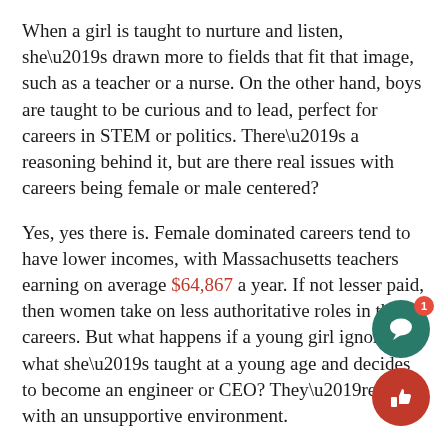When a girl is taught to nurture and listen, she’s drawn more to fields that fit that image, such as a teacher or a nurse. On the other hand, boys are taught to be curious and to lead, perfect for careers in STEM or politics. There’s a reasoning behind it, but are there real issues with careers being female or male centered?
Yes, yes there is. Female dominated careers tend to have lower incomes, with Massachusetts teachers earning on average $64,867 a year. If not lesser paid, then women take on less authoritative roles in their careers. But what happens if a young girl ignores what she’s taught at a young age and decides to become an engineer or CEO? They’re met with an unsupportive environment.
Many women will agree walking into a lecture or discussion and seeing that it’s nearly all men is daun because they know how they are going to be treated in